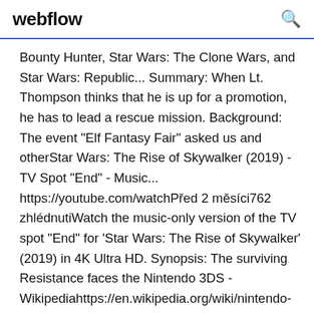webflow
Bounty Hunter, Star Wars: The Clone Wars, and Star Wars: Republic... Summary: When Lt. Thompson thinks that he is up for a promotion, he has to lead a rescue mission. Background: The event "Elf Fantasy Fair" asked us and otherStar Wars: The Rise of Skywalker (2019) - TV Spot "End" - Music... https://youtube.com/watchPřed 2 měsíci762 zhlédnutiWatch the music-only version of the TV spot "End" for 'Star Wars: The Rise of Skywalker' (2019) in 4K Ultra HD. Synopsis: The surviving Resistance faces the Nintendo 3DS - Wikipediahttps://en.wikipedia.org/wiki/nintendo-3dsOn the original Nintendo 3DS, the screen measures 77 mm (3.02 in), while on the 3DS XL